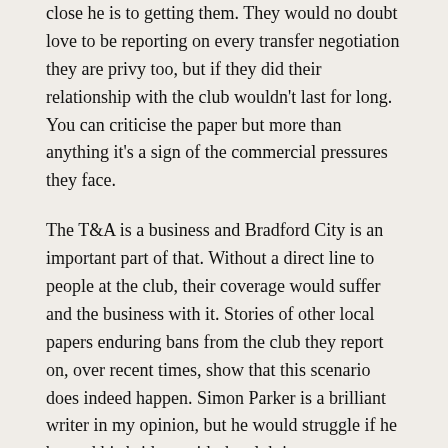close he is to getting them. They would no doubt love to be reporting on every transfer negotiation they are privy too, but if they did their relationship with the club wouldn't last for long. You can criticise the paper but more than anything it's a sign of the commercial pressures they face.
The T&A is a business and Bradford City is an important part of that. Without a direct line to people at the club, their coverage would suffer and the business with it. Stories of other local papers enduring bans from the club they report on, over recent times, show that this scenario does indeed happen. Simon Parker is a brilliant writer in my opinion, but he would struggle if he burned his bridges with the club just to get a good headline.
Of course, the club need the T&A too. The publicity they routinely receive from the paper is massive and would cost a fortune to replicate through advertising. The ongoing promotions of the #149 season ticket campaign are a great example of the benefits of City working closely with the T&A.
The club no doubt has a great relationship with Simon Parker because of the coverage he can provide them. And in return,